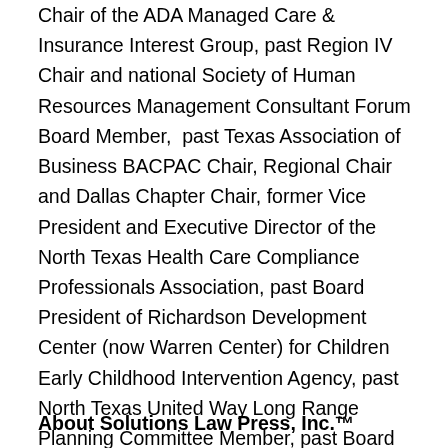Chair of the ADA Managed Care & Insurance Interest Group, past Region IV Chair and national Society of Human Resources Management Consultant Forum Board Member,  past Texas Association of Business BACPAC Chair, Regional Chair and Dallas Chapter Chair, former Vice President and Executive Director of the North Texas Health Care Compliance Professionals Association, past Board President of Richardson Development Center (now Warren Center) for Children Early Childhood Intervention Agency, past North Texas United Way Long Range Planning Committee Member, past Board Member and Compliance Chair of the National Kidney Foundation of North Texas, a Fellow in the American College of Employee Benefit Counsel, the American Bar Foundation and the Texas Bar Foundation and many others.
About Solutions Law Press, Inc.™